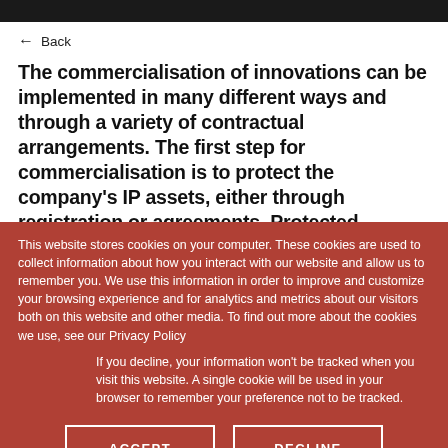Back
The commercialisation of innovations can be implemented in many different ways and through a variety of contractual arrangements. The first step for commercialisation is to protect the company's IP assets, either through registration or agreements. Protected
This website stores cookies on your computer. These cookies are used to collect information about how you interact with our website and allow us to remember you. We use this information in order to improve and customize your browsing experience and for analytics and metrics about our visitors both on this website and other media. To find out more about the cookies we use, see our Privacy Policy
If you decline, your information won't be tracked when you visit this website. A single cookie will be used in your browser to remember your preference not to be tracked.
ACCEPT
DECLINE